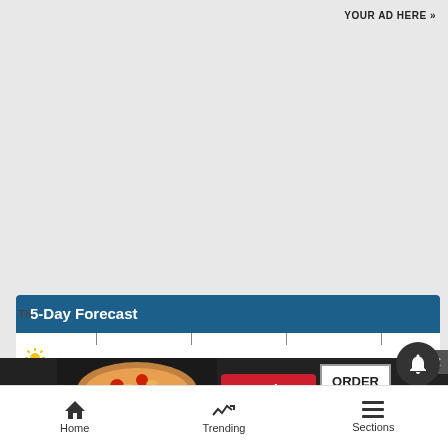YOUR AD HERE »
5-Day Forecast
[Figure (infographic): Seamless food delivery advertisement banner with pizza image, red Seamless logo, and ORDER NOW button on dark background]
[Figure (other): Dark circular notification bell button overlay]
[Figure (other): Close X button overlay]
Home   Trending   Sections